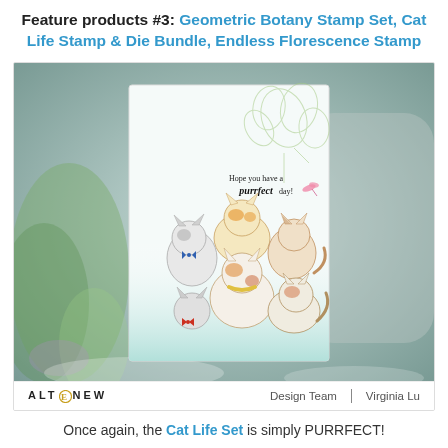Feature products #3: Geometric Botany Stamp Set, Cat Life Stamp & Die Bundle, Endless Florescence Stamp
[Figure (photo): Photo of a handmade greeting card featuring illustrated cats stamped with the Cat Life stamp set, with floral background from Endless Florescence stamp, text reading 'Hope you have a purrfect day!'. Card is displayed in front of a plant with blurred background. Altenew logo visible at bottom left, 'Design Team' and 'Virginia Lu' at bottom right.]
Once again, the Cat Life Set is simply PURRFECT!